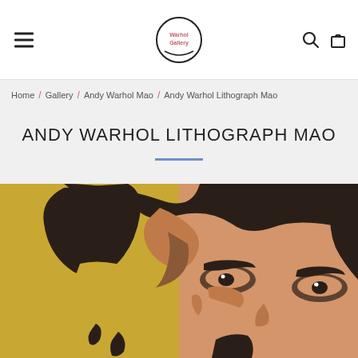Warhol Gallery — navigation header with hamburger menu, logo, search and cart icons
Home / Gallery / Andy Warhol Mao / Andy Warhol Lithograph Mao
ANDY WARHOL LITHOGRAPH MAO
[Figure (photo): Close-up of an Andy Warhol pop-art lithograph depicting Mao Zedong. The left portion has a golden-yellow background with dark silhouetted hair; the right portion shows Mao's face in orange/peach tones with dark brown graphic details for features. The image is cropped showing the top half of the face.]